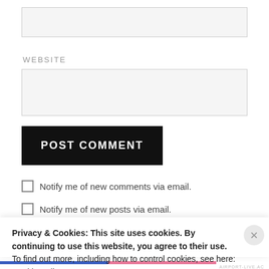[Figure (screenshot): Empty text input field with light grey background]
WEBSITE
[Figure (screenshot): Empty website input field with light grey background]
[Figure (screenshot): POST COMMENT button, black background with white uppercase text]
Notify me of new comments via email.
Notify me of new posts via email.
Privacy & Cookies: This site uses cookies. By continuing to use this website, you agree to their use.
To find out more, including how to control cookies, see here:
Cookie Policy
Close and accept